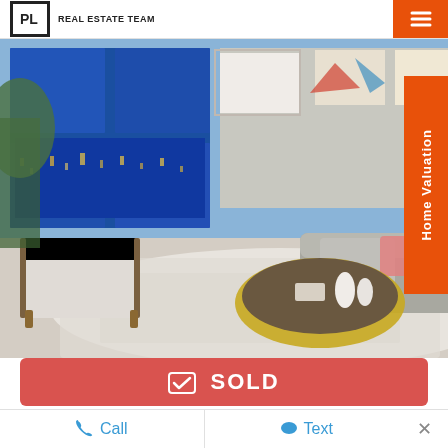REAL ESTATE TEAM
[Figure (photo): Interior photo of a modern furnished living room with floor-to-ceiling windows showing a city view at night. Features a grey sofa, gold coffee table, patterned rug, white chair, and decorative artwork on walls.]
SOLD
3207 1008 CAMBIE STREET
Call   Text